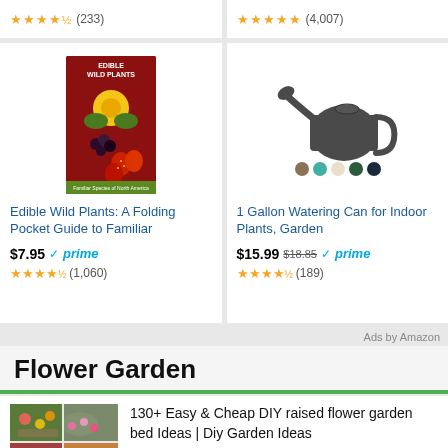★★★★½ (233)
★★★★★ (4,007)
[Figure (photo): Book cover: Edible Wild Plants pocket guide with dandelion and berries on red background]
Edible Wild Plants: A Folding Pocket Guide to Familiar
$7.95 ✓prime ★★★★½ (1,060)
[Figure (photo): 1 Gallon dark gray metal watering can with color variant swatches below]
1 Gallon Watering Can for Indoor Plants, Garden
$15.99 $18.85 ✓prime ★★★★½ (189)
Ads by Amazon
Flower Garden
[Figure (photo): Grid of 4 garden images showing raised flower beds with colorful flowers and stone edging]
130+ Easy & Cheap DIY raised flower garden bed Ideas | Diy Garden Ideas